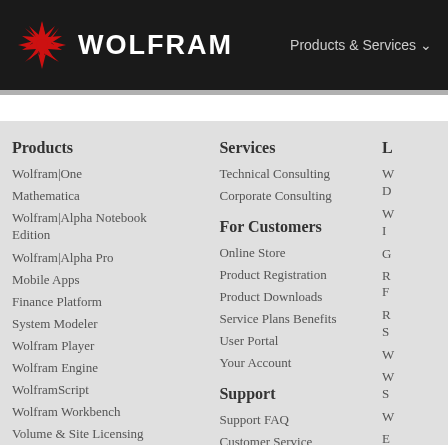WOLFRAM | Products & Services
Products
Wolfram|One
Mathematica
Wolfram|Alpha Notebook Edition
Wolfram|Alpha Pro
Mobile Apps
Finance Platform
System Modeler
Wolfram Player
Wolfram Engine
WolframScript
Wolfram Workbench
Volume & Site Licensing
Enterprise Private Cloud
Application Server
Services
Technical Consulting
Corporate Consulting
For Customers
Online Store
Product Registration
Product Downloads
Service Plans Benefits
User Portal
Your Account
Support
Support FAQ
Customer Service